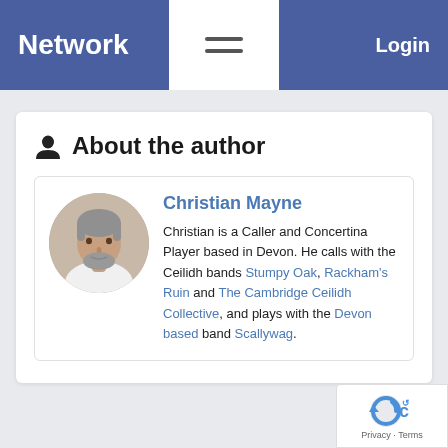Network  Login
About the author
Christian Mayne
Christian is a Caller and Concertina Player based in Devon. He calls with the Ceilidh bands Stumpy Oak, Rackham's Ruin and The Cambridge Ceilidh Collective, and plays with the Devon based band Scallywag.
[Figure (photo): Circular portrait photo of Christian Mayne, a middle-aged man with grey hair and a beard, wearing a white shirt.]
Privacy · Terms